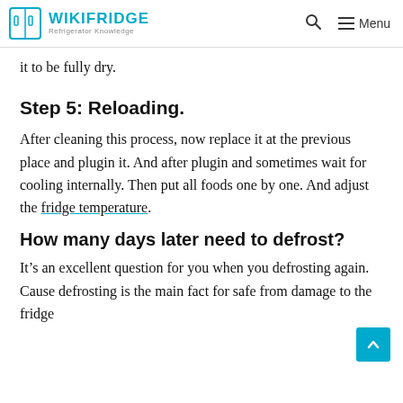WIKIFRIDGE Refrigerator Knowledge
it to be fully dry.
Step 5: Reloading.
After cleaning this process, now replace it at the previous place and plugin it. And after plugin and sometimes wait for cooling internally. Then put all foods one by one. And adjust the fridge temperature.
How many days later need to defrost?
It’s an excellent question for you when you defrosting again. Cause defrosting is the main fact for safe from damage to the fridge...